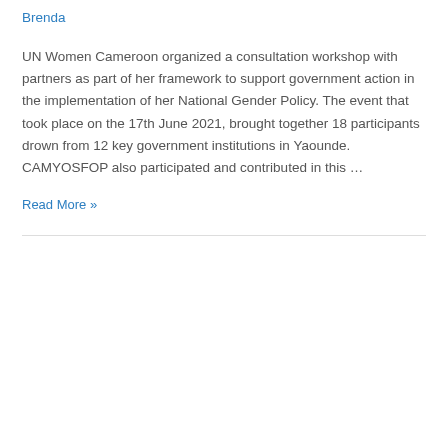Brenda
UN Women Cameroon organized a consultation workshop with partners as part of her framework to support government action in the implementation of her National Gender Policy. The event that took place on the 17th June 2021, brought together 18 participants drown from 12 key government institutions in Yaounde. CAMYOSFOP also participated and contributed in this ...
Read More »